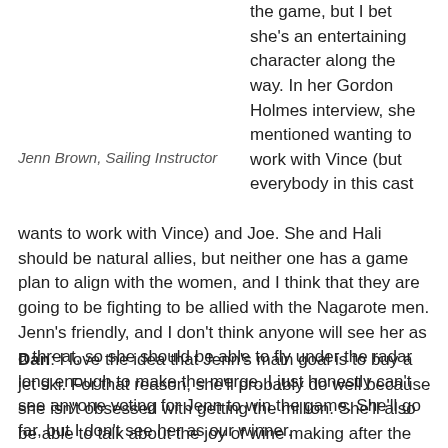the game, but I bet she's an entertaining character along the way. In her Gordon Holmes interview, she mentioned wanting to work with Vince (but everybody in this cast wants to work with Vince) and Joe. She and Hali should be natural allies, but neither one has a game plan to align with the women, and I think that they are going to be fighting to be allied with the Nagarote men. Jenn's friendly, and I don't think anyone will see her as a threat, so she should be able to fly under the radar long enough to make the merge. I just honestly can't see anyone voting for Jenn to win the game. She'll go far, but I don't see her as our winner.
Jenn Brown, Sailing Instructor
Dan: I love the idea that Jenn's main goal is to buy a jet ski. For that reason, she'll probably do well because she isn't obsessed with getting the million. She'll also be able to talk about the joy of wine making after the show airs with Jon